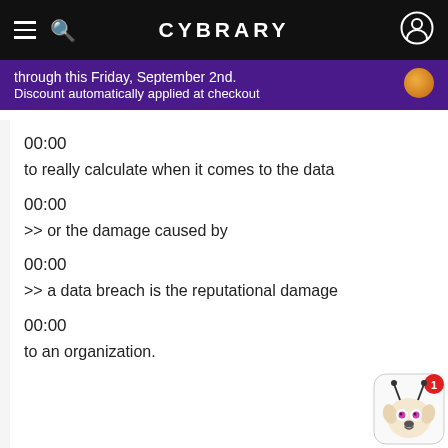CYBRARY
through this Friday, September 2nd.
Discount automatically applied at checkout
00:00
to really calculate when it comes to the data
00:00
>> or the damage caused by
00:00
>> a data breach is the reputational damage
00:00
to an organization.